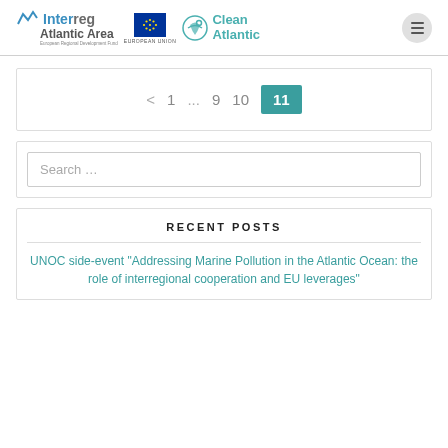[Figure (logo): Interreg Atlantic Area logo with EU flag and Clean Atlantic logo, plus hamburger menu button]
< 1 ... 9 10 11
Search ...
RECENT POSTS
UNOC side-event “Addressing Marine Pollution in the Atlantic Ocean: the role of interregional cooperation and EU leverages”